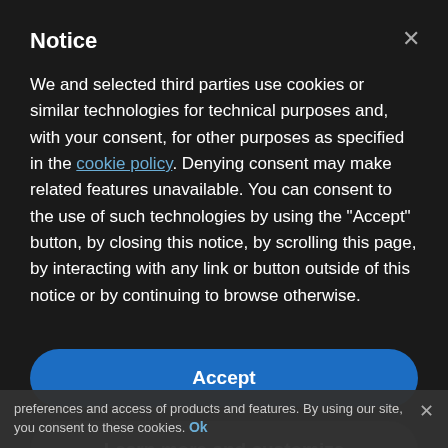Notice
We and selected third parties use cookies or similar technologies for technical purposes and, with your consent, for other purposes as specified in the cookie policy. Denying consent may make related features unavailable. You can consent to the use of such technologies by using the "Accept" button, by closing this notice, by scrolling this page, by interacting with any link or button outside of this notice or by continuing to browse otherwise.
Accept
Learn more and customize
30 Minutes of Aerobic Exercise Supercharges
preferences and access of products and features. By using our site, you consent to these cookies.